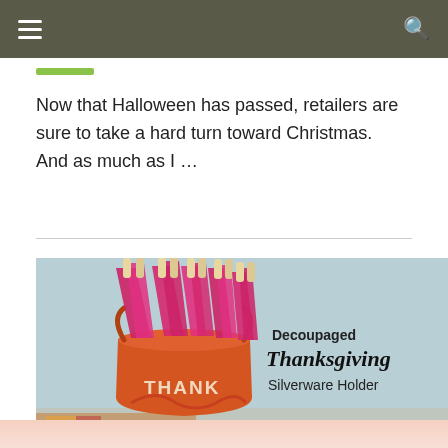Navigation bar with hamburger menu and search icon
Now that Halloween has passed, retailers are sure to take a hard turn toward Christmas.  And as much as I …
[Figure (photo): Photo of an orange metal bucket labeled THANKS holding pink/magenta napkins wrapped around wooden utensils, with text overlay reading 'Decoupaged Thanksgiving Silverware Holder']